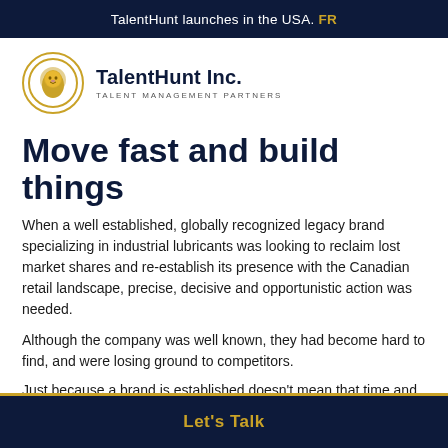TalentHunt launches in the USA. FR
[Figure (logo): TalentHunt Inc. logo — golden lion head in a circle, with text 'TalentHunt Inc.' and 'TALENT MANAGEMENT PARTNERS']
Move fast and build things
When a well established, globally recognized legacy brand specializing in industrial lubricants was looking to reclaim lost market shares and re-establish its presence with the Canadian retail landscape, precise, decisive and opportunistic action was needed.
Although the company was well known, they had become hard to find, and were losing ground to competitors.
Just because a brand is established doesn't mean that time and
Let's Talk